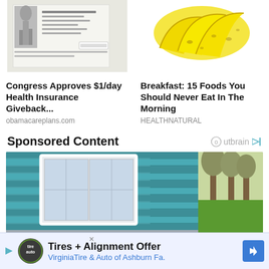[Figure (photo): Thumbnail image of a tax/check document with Statue of Liberty graphic, Austin Texas header]
[Figure (photo): Thumbnail image of ripe bananas on white background]
Congress Approves $1/day Health Insurance Giveback...
obamacareplans.com
Breakfast: 15 Foods You Should Never Eat In The Morning
HEALTHNATURAL
Sponsored Content
Outbrain
[Figure (photo): Large photo of a house exterior with teal/blue siding, white window, and roofing tiles showing comparison of old weathered shingles vs newer shingles]
Tires + Alignment Offer
VirginiaTire & Auto of Ashburn Fa.